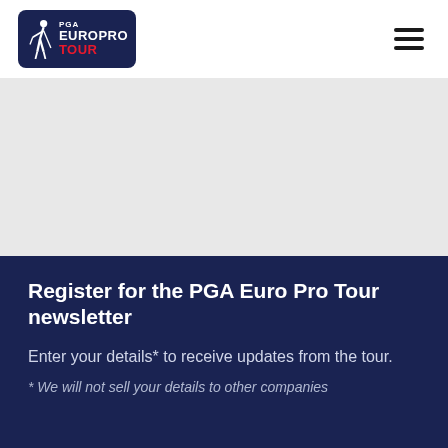[Figure (logo): PGA EuroPro Tour logo — dark navy rounded rectangle with golfer silhouette and text 'PGA EUROPRO TOUR']
[Figure (other): Hamburger menu icon — three horizontal dark bars]
[Figure (other): Light gray placeholder/banner area]
Register for the PGA Euro Pro Tour newsletter
Enter your details* to receive updates from the tour.
* We will not sell your details to other companies